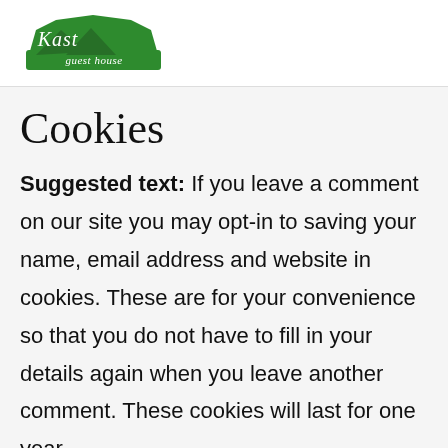[Figure (logo): Kast Guest House logo: green mountain/house shape with cursive 'Kast' text above and 'guest house' text below in white on green background]
Cookies
Suggested text: If you leave a comment on our site you may opt-in to saving your name, email address and website in cookies. These are for your convenience so that you do not have to fill in your details again when you leave another comment. These cookies will last for one year.
If you visit our login page, we will set a temporary cookie to determine if your